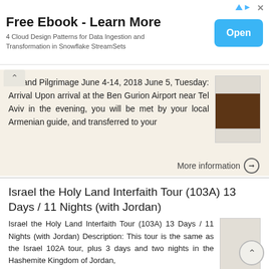[Figure (infographic): Advertisement banner: Free Ebook - Learn More. 4 Cloud Design Patterns for Data Ingestion and Transformation in Snowflake StreamSets. Blue Open button on right.]
...y Land Pilgrimage June 4-14, 2018 June 5, Tuesday: Arrival Upon arrival at the Ben Gurion Airport near Tel Aviv in the evening, you will be met by your local Armenian guide, and transferred to your
More information →
Israel the Holy Land Interfaith Tour (103A) 13 Days / 11 Nights (with Jordan)
Israel the Holy Land Interfaith Tour (103A) 13 Days / 11 Nights (with Jordan) Description: This tour is the same as the Israel 102A tour, plus 3 days and two nights in the Hashemite Kingdom of Jordan,